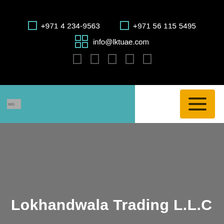+971 4 234-9563   +971 56 115 5495   info@lktuae.com
[Figure (logo): Company logo in teal navigation bar]
[Figure (infographic): Yellow hamburger menu button]
Lokhandwala Trading L.L.C